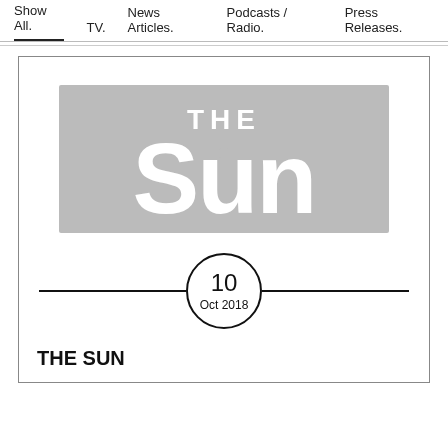Show All.  TV.  News Articles.  Podcasts / Radio.  Press Releases.
[Figure (logo): The Sun newspaper logo in grey on white background]
10
Oct 2018
THE SUN